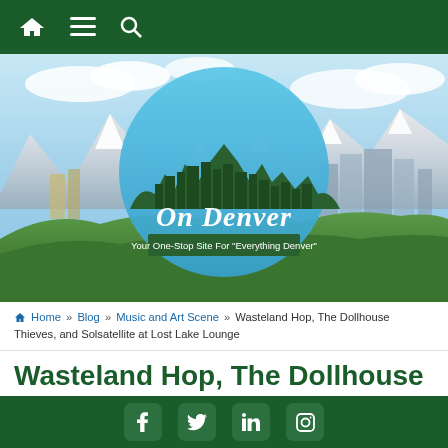On Denver — Your One-Stop Site For "Everything Denver"
[Figure (photo): Denver cityscape with snow-capped Rocky Mountains in the background, green trees in foreground, On Denver logo overlay with city skyline silhouette and tagline 'Your One-Stop Site For Everything Denver']
Home » Blog » Music and Art Scene » Wasteland Hop, The Dollhouse Thieves, and Solsatellite at Lost Lake Lounge
Wasteland Hop, The Dollhouse Thieves, and Solsatellite at Lost Lake
Social links: Facebook, Twitter, LinkedIn, Instagram